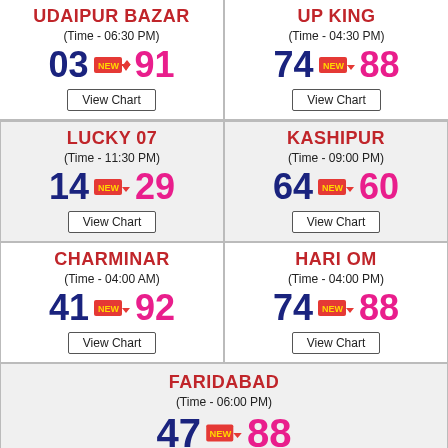UDAIPUR BAZAR
(Time - 06:30 PM)
03  NEW→  91
View Chart
UP KING
(Time - 04:30 PM)
74  NEW→  88
View Chart
LUCKY 07
(Time - 11:30 PM)
14  NEW→  29
View Chart
KASHIPUR
(Time - 09:00 PM)
64  NEW→  60
View Chart
CHARMINAR
(Time - 04:00 AM)
41  NEW→  92
View Chart
HARI OM
(Time - 04:00 PM)
74  NEW→  88
View Chart
FARIDABAD
(Time - 06:00 PM)
47  NEW→  88
View Chart
SPECIAL RANCHI
AGRA BAZAR